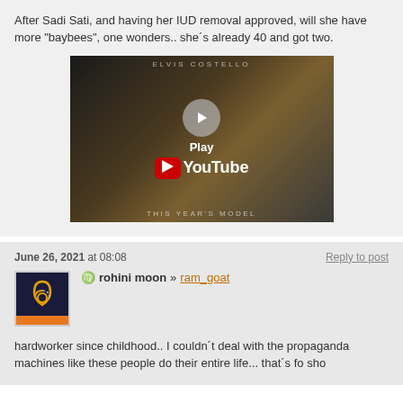After Sadi Sati, and having her IUD removal approved, will she have more "baybees", one wonders.. she´s already 40 and got two.
[Figure (screenshot): YouTube video thumbnail showing Elvis Costello album cover 'This Year's Model' with a Play button overlay and YouTube logo]
June 26, 2021 at 08:08
Reply to post
[Figure (photo): User avatar for rohini moon - dark blue square with crescent moon and spiral orange symbol, orange bar at bottom]
rohini moon » ram_goat
hardworker since childhood.. I couldn´t deal with the propaganda machines like these people do their entire life... that´s fo sho